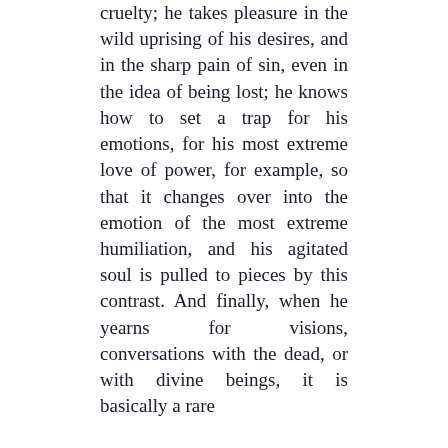cruelty; he takes pleasure in the wild uprising of his desires, and in the sharp pain of sin, even in the idea of being lost; he knows how to set a trap for his emotions, for his most extreme love of power, for example, so that it changes over into the emotion of the most extreme humiliation, and his agitated soul is pulled to pieces by this contrast. And finally, when he yearns for visions, conversations with the dead, or with divine beings, it is basically a rare